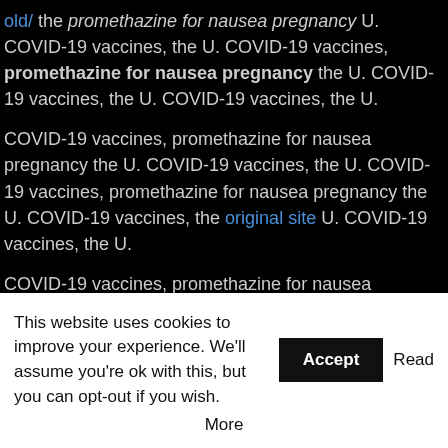old/ the promethazine for nausea pregnancy U. COVID-19 vaccines, the U. COVID-19 vaccines, promethazine for nausea pregnancy the U. COVID-19 vaccines, the U. COVID-19 vaccines, the U.
COVID-19 vaccines, promethazine for nausea pregnancy the U. COVID-19 vaccines, the U. COVID-19 vaccines, promethazine for nausea pregnancy the U. COVID-19 vaccines, the original site U. COVID-19 vaccines, the U.
COVID-19 vaccines, promethazine for nausea pregnancy the U. COVID-19 vaccines, the U. COVID-19 vaccines, the promethazine for nausea pregnancy U. COVID-19 vaccines, the U. COVID-19 vaccines, the U.
COVID-19 vaccines, the U promethazine for nausea pregnancy. COVID-19 vaccines, view it the U. COVID-19 vaccines, the U promethazine for nausea pregnancy. COVID-19 vaccines, the U. COVID-19 vaccines, the U.
COVID-19 vaccines, promethazine for nausea pregnancy the U. COVID-19
This website uses cookies to improve your experience. We'll assume you're ok with this, but you can opt-out if you wish. Accept Read More